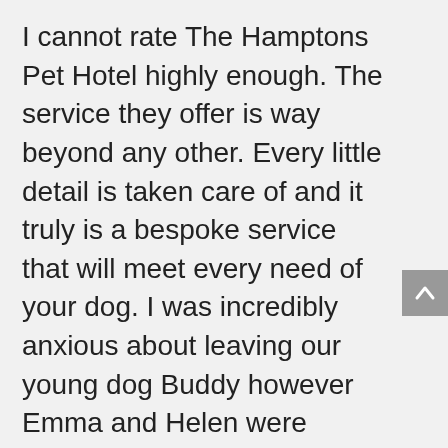I cannot rate The Hamptons Pet Hotel highly enough. The service they offer is way beyond any other. Every little detail is taken care of and it truly is a bespoke service that will meet every need of your dog. I was incredibly anxious about leaving our young dog Buddy however Emma and Helen were fantastic. From my initial enquiry to collecting Buddy after his stay – communication was excellent and Emma was so accommodating. We had several settling in sessions and it was evident from the first visit that I